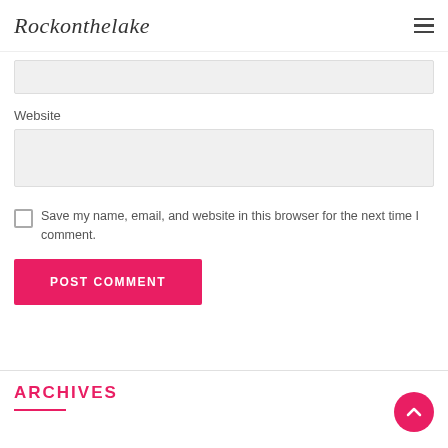Rockonthelake
Website
Save my name, email, and website in this browser for the next time I comment.
POST COMMENT
ARCHIVES